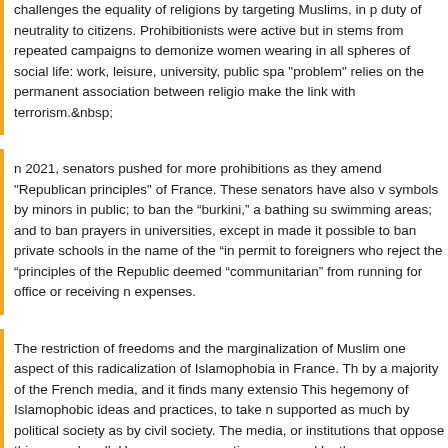challenges the equality of religions by targeting Muslims, in part duty of neutrality to citizens. Prohibitionists were active but in stems from repeated campaigns to demonize women wearing in all spheres of social life: work, leisure, university, public spa "problem" relies on the permanent association between religio make the link with terrorism.
n 2021, senators pushed for more prohibitions as they amend "Republican principles" of France. These senators have also v symbols by minors in public; to ban the “burkini,” a bathing su swimming areas; and to ban prayers in universities, except in made it possible to ban private schools in the name of the “in permit to foreigners who reject the “principles of the Republic deemed “communitarian” from running for office or receiving n expenses.
The restriction of freedoms and the marginalization of Muslim one aspect of this radicalization of Islamophobia in France. Th by a majority of the French media, and it finds many extensio This hegemony of Islamophobic ideas and practices, to take n supported as much by political society as by civil society. The media, or institutions that oppose this groundswell. However, conservative press and by the government.